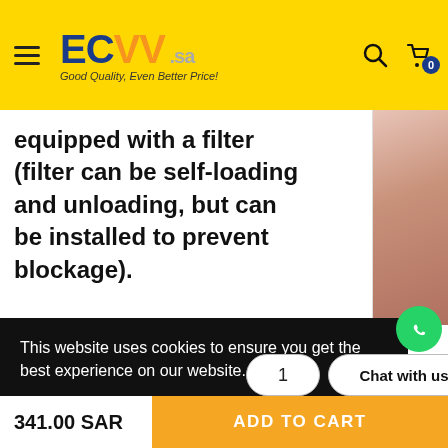ECVV .sa — Good Quality, Even Better Price!
equipped with a filter (filter can be self-loading and unloading, but can be installed to prevent blockage).
This website uses cookies to ensure you get the best experience on our website.
Learn more
1
Chat with us
341.00 SAR
ADD TO CART